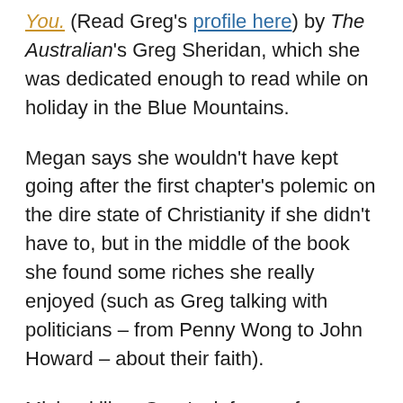You. (Read Greg's profile here) by The Australian's Greg Sheridan, which she was dedicated enough to read while on holiday in the Blue Mountains.
Megan says she wouldn't have kept going after the first chapter's polemic on the dire state of Christianity if she didn't have to, but in the middle of the book she found some riches she really enjoyed (such as Greg talking with politicians – from Penny Wong to John Howard – about their faith).
Michael likes Greg's defence of Christianity as intellectually respectable, but doesn't feel he achieved his stated aim of doing for the 21st